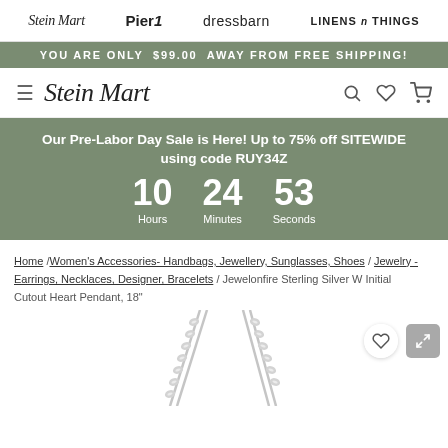Stein Mart  Pier1  dressbarn  LINENS n THINGS
YOU ARE ONLY $99.00 AWAY FROM FREE SHIPPING!
[Figure (logo): Stein Mart logo with hamburger menu, search, wishlist, and cart icons]
Our Pre-Labor Day Sale is Here! Up to 75% off SITEWIDE using code RUY34Z 10 Hours 24 Minutes 53 Seconds
Home /Women's Accessories- Handbags, Jewellery, Sunglasses, Shoes / Jewelry - Earrings, Necklaces, Designer, Bracelets / Jewelonfire Sterling Silver W Initial Cutout Heart Pendant, 18"
[Figure (photo): Sterling silver chain necklace pendant photo, partially visible from bottom of frame]